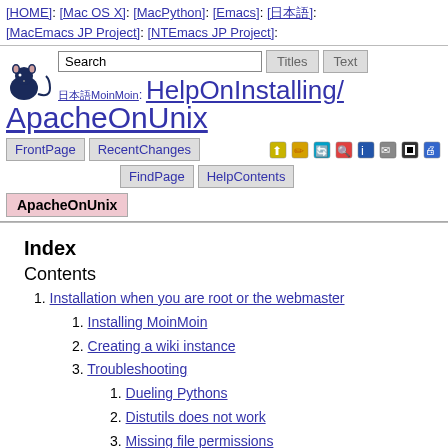[HOME]: [Mac OS X]: [MacPython]: [Emacs]: [日本語]: [MacEmacs JP Project]: [NTEmacs JP Project]:
[Figure (logo): MoinMoin mouse logo (dark blue rat icon)]
日本語MoinMoin: HelpOnInstalling/ApacheOnUnix
FrontPage | RecentChanges | FindPage | HelpContents
ApacheOnUnix (active tab)
Index
Contents
1. Installation when you are root or the webmaster
1. Installing MoinMoin
2. Creating a wiki instance
3. Troubleshooting
1. Dueling Pythons
2. Distutils does not work
3. Missing file permissions